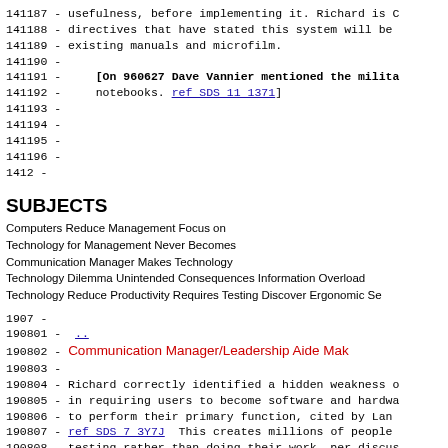141187 - usefulness, before implementing it. Richard is C
141188 - directives that have stated this system will be
141189 - existing manuals and microfilm.
141190 -
141191 -     [On 960627 Dave Vannier mentioned the milita
141192 -     notebooks. ref SDS 11 1371]
141193 -
141194 -
141195 -
141196 -
1412 -
SUBJECTS
Computers Reduce Management Focus on
Technology for Management Never Becomes
Communication Manager Makes Technology
Technology Dilemma Unintended Consequences Information Overload
Technology Reduce Productivity Requires Testing Discover Ergonomic Se
1907 -
190801 -  ..
190802 - Communication Manager/Leadership Aide Mak
190803 -
190804 - Richard correctly identified a hidden weakness o
190805 - in requiring users to become software and hardwa
190806 - to perform their primary function, cited by Lan
190807 - ref SDS 7 3Y7J  This creates millions of people
190808 - testing rather than doing their work, per discus
190809 - year, ref SDS 8 V360 and ref SDS 8 PQWP